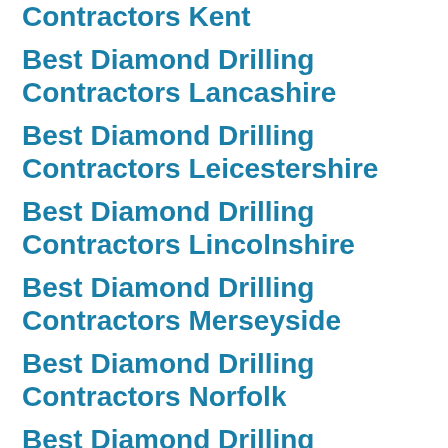Contractors Kent
Best Diamond Drilling Contractors Lancashire
Best Diamond Drilling Contractors Leicestershire
Best Diamond Drilling Contractors Lincolnshire
Best Diamond Drilling Contractors Merseyside
Best Diamond Drilling Contractors Norfolk
Best Diamond Drilling Contractors Northamptonshire